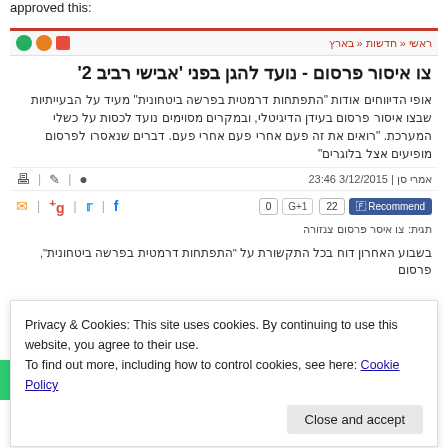approved this:
ראשי « חדשות « בארץ
צו איסור פרסום - נועד להגן בפני 'אבישי רביב 2'
אופי הדיווחים אודות "התפתחות דרמטית בפרשה ביטחונית" מעיד על הבעייתיות שבצו איסור פרסום בעידן הדיגיטלי, ובמקרים מסוימים נועד לכסות על כשלי המערכת. "רואים את זה פעם אחרי פעם אחרי פעם. דברים שנאסרו לפרסום מופיעים אצל בלוגרים"
אמרי סן | 3/12/2015 23:46
Recommend 22  G+1 0
תגית: צו איסר פרסום צנזורה
בשבוע האחרון דוח בכל התקשורת על "התפתחות דרמטית בפרשה ביטחונית", פרסום
Privacy & Cookies: This site uses cookies. By continuing to use this website, you agree to their use.
To find out more, including how to control cookies, see here: Cookie Policy
Close and accept
"שופט שמסכים לתת צו איסור פרסום ליותר מ-24 שעות לא מבין את הסביבה